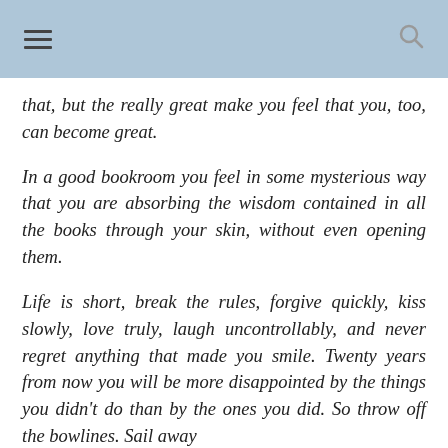≡   🔍
that, but the really great make you feel that you, too, can become great.
In a good bookroom you feel in some mysterious way that you are absorbing the wisdom contained in all the books through your skin, without even opening them.
Life is short, break the rules, forgive quickly, kiss slowly, love truly, laugh uncontrollably, and never regret anything that made you smile. Twenty years from now you will be more disappointed by the things you didn't do than by the ones you did. So throw off the bowlines. Sail away